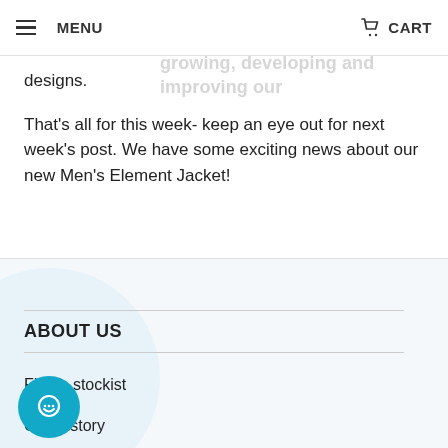MENU  CART
customers might have as we are always growing, developing and improving our designs.
That's all for this week- keep an eye out for next week's post. We have some exciting news about our new Men's Element Jacket!
ABOUT US
Find a stockist
Our History
Contact Us